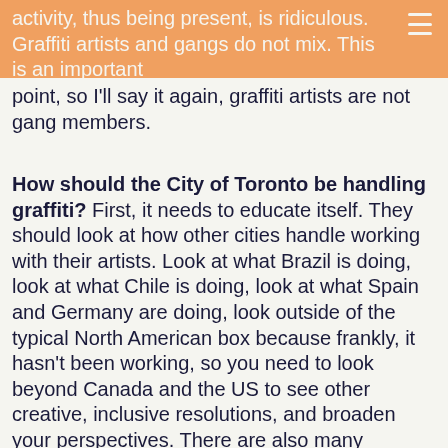activity, thus being present, is ridiculous. Graffiti artists and gangs do not mix. This is an important
point, so I'll say it again, graffiti artists are not gang members.
How should the City of Toronto be handling graffiti? First, it needs to educate itself. They should look at how other cities handle working with their artists. Look at what Brazil is doing, look at what Chile is doing, look at what Spain and Germany are doing, look outside of the typical North American box because frankly, it hasn't been working, so you need to look beyond Canada and the US to see other creative, inclusive resolutions, and broaden your perspectives. There are also many suggestions from actual artists, including the creation of legal walls and having graffiti art and history classes at schools as part of their art curriculum, amongst other ideas. I do need to point out that if the city is trying to create mandates to